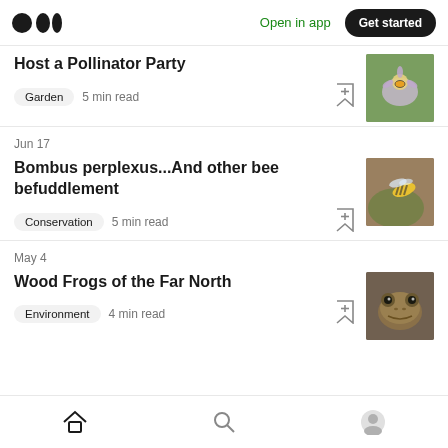Medium logo | Open in app | Get started
Host a Pollinator Party
Garden  5 min read
Jun 17
Bombus perplexus...And other bee befuddlement
Conservation  5 min read
May 4
Wood Frogs of the Far North
Environment  4 min read
Home | Search | Profile